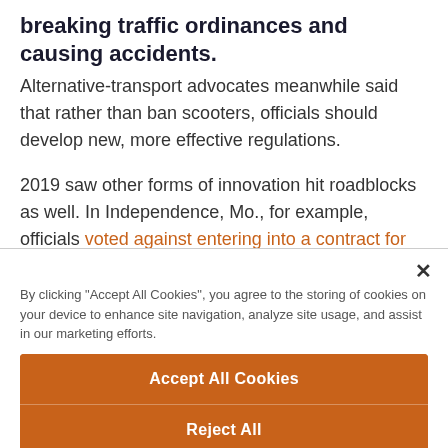breaking traffic ordinances and causing accidents. Alternative-transport advocates meanwhile said that rather than ban scooters, officials should develop new, more effective regulations.
2019 saw other forms of innovation hit roadblocks as well. In Independence, Mo., for example, officials voted against entering into a contract for smart
By clicking "Accept All Cookies", you agree to the storing of cookies on your device to enhance site navigation, analyze site usage, and assist in our marketing efforts.
Accept All Cookies
Reject All
Cookies Settings